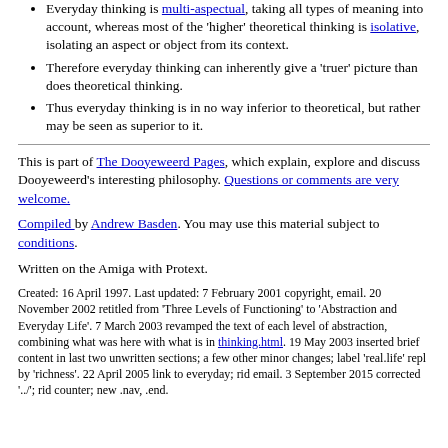Everyday thinking is multi-aspectual, taking all types of meaning into account, whereas most of the 'higher' theoretical thinking is isolative, isolating an aspect or object from its context.
Therefore everyday thinking can inherently give a 'truer' picture than does theoretical thinking.
Thus everyday thinking is in no way inferior to theoretical, but rather may be seen as superior to it.
This is part of The Dooyeweerd Pages, which explain, explore and discuss Dooyeweerd's interesting philosophy. Questions or comments are very welcome.
Compiled by Andrew Basden. You may use this material subject to conditions.
Written on the Amiga with Protext.
Created: 16 April 1997. Last updated: 7 February 2001 copyright, email. 20 November 2002 retitled from 'Three Levels of Functioning' to 'Abstraction and Everyday Life'. 7 March 2003 revamped the text of each level of abstraction, combining what was here with what is in thinking.html. 19 May 2003 inserted brief content in last two unwritten sections; a few other minor changes; label 'real.life' repl by 'richness'. 22 April 2005 link to everyday; rid email. 3 September 2015 corrected '../'; rid counter; new .nav, .end.